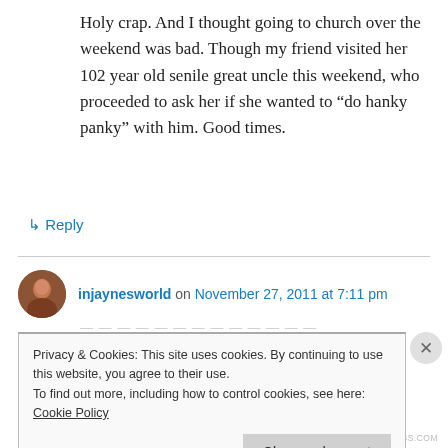Holy crap. And I thought going to church over the weekend was bad. Though my friend visited her 102 year old senile great uncle this weekend, who proceeded to ask her if she wanted to “do hanky panky” with him. Good times.
↳ Reply
injaynesworld on November 27, 2011 at 7:11 pm
Privacy & Cookies: This site uses cookies. By continuing to use this website, you agree to their use.
To find out more, including how to control cookies, see here: Cookie Policy
Close and accept